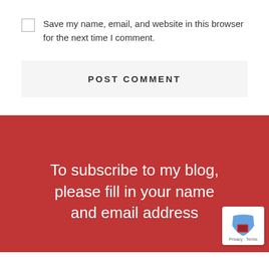Save my name, email, and website in this browser for the next time I comment.
POST COMMENT
To subscribe to my blog, please fill in your name and email address